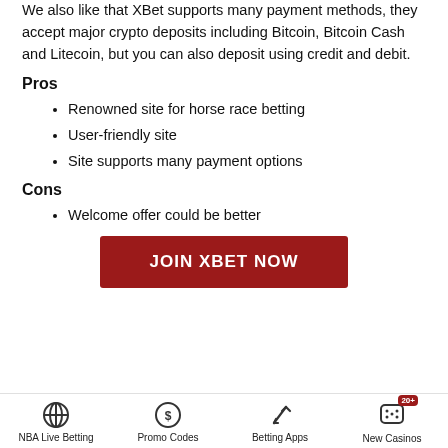We also like that XBet supports many payment methods, they accept major crypto deposits including Bitcoin, Bitcoin Cash and Litecoin, but you can also deposit using credit and debit.
Pros
Renowned site for horse race betting
User-friendly site
Site supports many payment options
Cons
Welcome offer could be better
JOIN XBET NOW
NBA Live Betting | Promo Codes | Betting Apps | New Casinos 20+